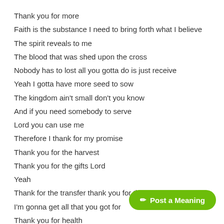Thank you for more
Faith is the substance I need to bring forth what I believe
The spirit reveals to me
The blood that was shed upon the cross
Nobody has to lost all you gotta do is just receive
Yeah I gotta have more seed to sow
The kingdom ain't small don't you know
And if you need somebody to serve
Lord you can use me
Therefore I thank for my promise
Thank you for the harvest
Thank you for the gifts Lord
Yeah
Thank for the transfer thank you for the power
I'm gonna get all that you got for
Thank you for health
[Figure (other): Green rounded button labeled 'Post a Meaning' with pencil icon]